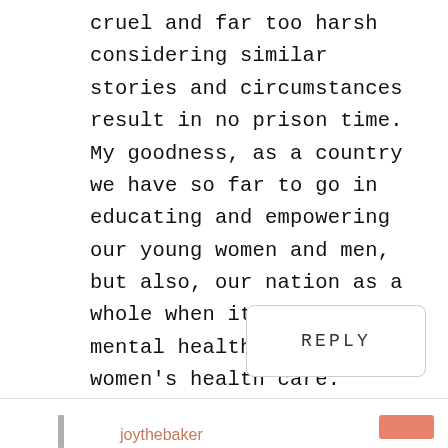cruel and far too harsh considering similar stories and circumstances result in no prison time. My goodness, as a country we have so far to go in educating and empowering our young women and men, but also, our nation as a whole when it comes to mental health issues and women's health care.
REPLY
joythebaker
January 29, 2020 at 6:30 am